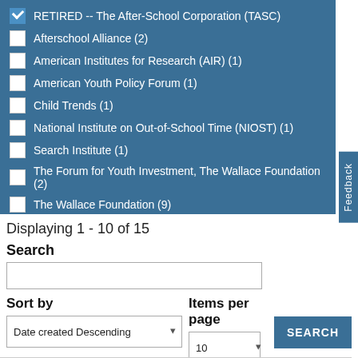✓ RETIRED -- The After-School Corporation (TASC)
Afterschool Alliance (2)
American Institutes for Research (AIR) (1)
American Youth Policy Forum (1)
Child Trends (1)
National Institute on Out-of-School Time (NIOST) (1)
Search Institute (1)
The Forum for Youth Investment, The Wallace Foundation (2)
The Wallace Foundation (9)
Displaying 1 - 10 of 15
Search
Sort by
Items per page